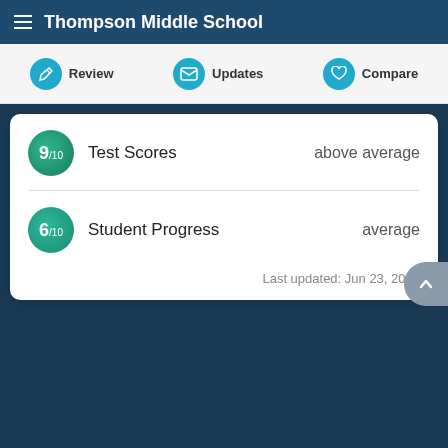Thompson Middle School
Review | Updates | Compare
| Score | Category | Rating |
| --- | --- | --- |
| 9/10 | Test Scores | above average |
| 6/10 | Student Progress | average |
Last updated: Jun 23, 2022